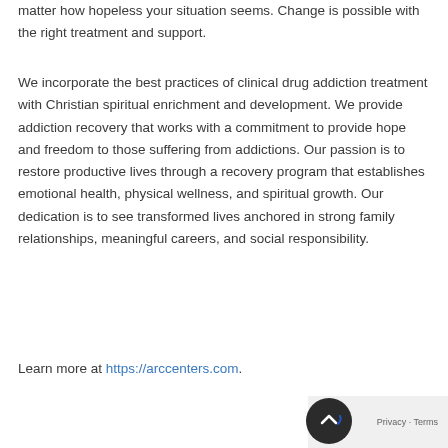matter how hopeless your situation seems. Change is possible with the right treatment and support.
We incorporate the best practices of clinical drug addiction treatment with Christian spiritual enrichment and development. We provide addiction recovery that works with a commitment to provide hope and freedom to those suffering from addictions. Our passion is to restore productive lives through a recovery program that establishes emotional health, physical wellness, and spiritual growth. Our dedication is to see transformed lives anchored in strong family relationships, meaningful careers, and social responsibility.
Learn more at https://arccenters.com.